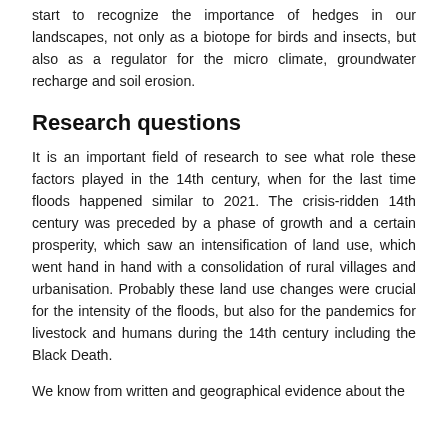start to recognize the importance of hedges in our landscapes, not only as a biotope for birds and insects, but also as a regulator for the micro climate, groundwater recharge and soil erosion.
Research questions
It is an important field of research to see what role these factors played in the 14th century, when for the last time floods happened similar to 2021. The crisis-ridden 14th century was preceded by a phase of growth and a certain prosperity, which saw an intensification of land use, which went hand in hand with a consolidation of rural villages and urbanisation. Probably these land use changes were crucial for the intensity of the floods, but also for the pandemics for livestock and humans during the 14th century including the Black Death.
We know from written and geographical evidence about the